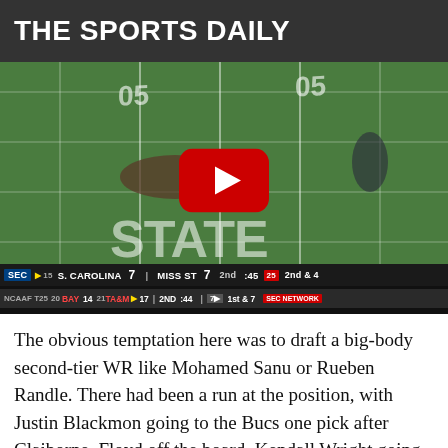THE SPORTS DAILY
[Figure (screenshot): YouTube video embed showing a football game at Mississippi State (M State logo visible on field), scoreboard showing S. Carolina 7, Miss St 7, 2nd quarter, :45, 2nd & 4. Secondary ticker: NCAAF Bay 14, TA&M 17, 2nd, :44, 1st & 7.]
The obvious temptation here was to draft a big-body second-tier WR like Mohamed Sanu or Rueben Randle. There had been a run at the position, with Justin Blackmon going to the Bucs one pick after Claiborne, Floyd off the board, Kendall Wright going to Cincinnati at 17, and Denver desperately